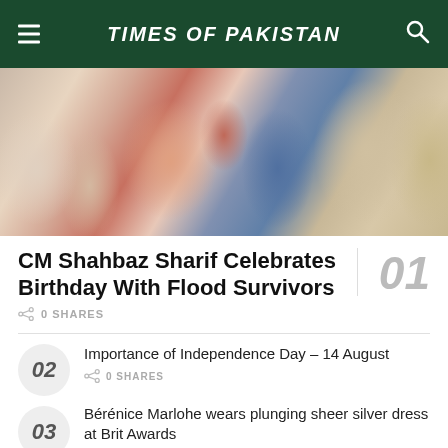TIMES OF PAKISTAN
[Figure (photo): Crowd of people photographed from mid-torso down, showing colorful clothing including floral patterns, saris, and a beige jacket.]
CM Shahbaz Sharif Celebrates Birthday With Flood Survivors
0 SHARES
Importance of Independence Day – 14 August
0 SHARES
Bérénice Marlohe wears plunging sheer silver dress at Brit Awards
0 SHARES